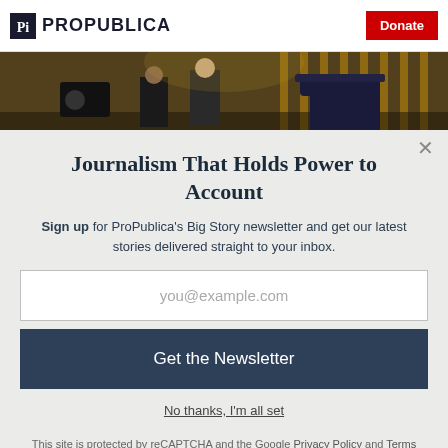ProPublica | Donate
[Figure (photo): A dark indoor scene showing men in suits and uniformed police officers, appears to be a formal governmental or law enforcement setting with warm amber lighting in the background.]
Journalism That Holds Power to Account
Sign up for ProPublica's Big Story newsletter and get our latest stories delivered straight to your inbox.
you@example.com
Get the Newsletter
No thanks, I'm all set
This site is protected by reCAPTCHA and the Google Privacy Policy and Terms of Service apply.